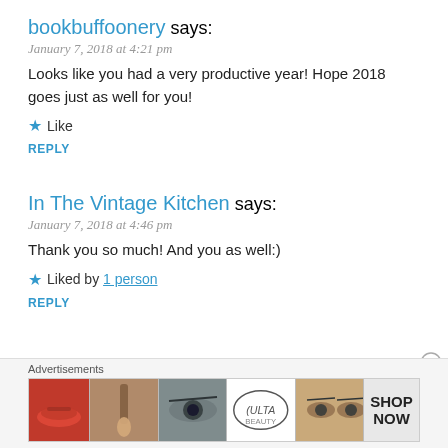bookbuffoonery says:
January 7, 2018 at 4:21 pm
Looks like you had a very productive year! Hope 2018 goes just as well for you!
Like
REPLY
In The Vintage Kitchen says:
January 7, 2018 at 4:46 pm
Thank you so much! And you as well:)
Liked by 1 person
REPLY
Advertisements